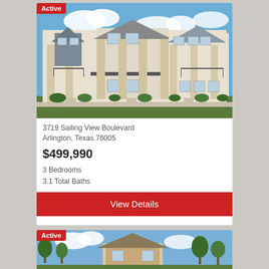[Figure (photo): Exterior photo of modern townhomes with stone columns, balconies, and landscaping under blue sky]
3719 Sailing View Boulevard
Arlington, Texas 76005
$499,990
3 Bedrooms
3.1 Total Baths
View Details
[Figure (photo): Exterior photo of a house with brick facade and trees under blue sky, showing Active badge]